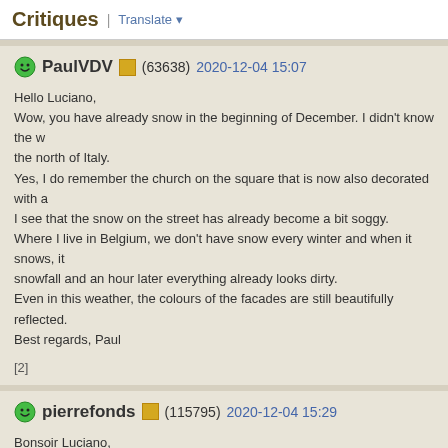Critiques | Translate
PaulVDV (63638) 2020-12-04 15:07

Hello Luciano,
Wow, you have already snow in the beginning of December. I didn't know the we the north of Italy.
Yes, I do remember the church on the square that is now also decorated with a
I see that the snow on the street has already become a bit soggy.
Where I live in Belgium, we don't have snow every winter and when it snows, it snowfall and an hour later everything already looks dirty.
Even in this weather, the colours of the facades are still beautifully reflected.
Best regards, Paul

[2]
pierrefonds (115795) 2020-12-04 15:29

Bonsoir Luciano,

L'arbre de Noлl cadre bien l'йglise. La prise de vue permet de voir les dйtails de neige est tombйe mais elle a fondu. Noлl sera tranquille en 2020 avec toutes le

Pierre